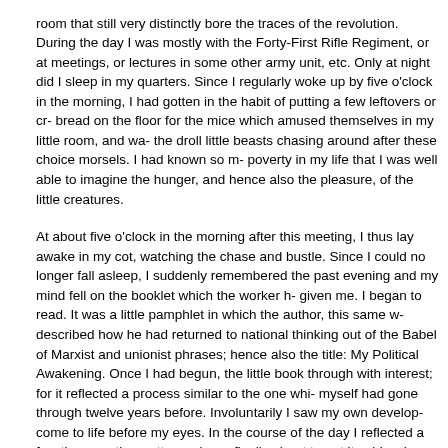room that still very distinctly bore the traces of the revolution. During the day I was mostly with the Forty-First Rifle Regiment, or at meetings, or lectures in some other army unit, etc. Only at night did I sleep in my quarters. Since I regularly woke up by five o'clock in the morning, I had gotten in the habit of putting a few leftovers or crusts of bread on the floor for the mice which amused themselves in my little room, and watched the droll little beasts chasing around after these choice morsels. I had known so much poverty in my life that I was well able to imagine the hunger, and hence also the pleasure, of the little creatures.
At about five o'clock in the morning after this meeting, I thus lay awake in my cot, watching the chase and bustle. Since I could no longer fall asleep, I suddenly remembered the past evening and my mind fell on the booklet which the worker had given me. I began to read. It was a little pamphlet in which the author, this same worker, described how he had returned to national thinking out of the Babel of Marxist and trade unionist phrases; hence also the title: My Political Awakening. Once I had begun, I read the little book through with interest; for it reflected a process similar to the one which I myself had gone through twelve years before. Involuntarily I saw my own development come to life before my eyes. In the course of the day I reflected a few times on the matter and was finally about to put it aside when, less than a week later, much to my surprise, I received a postcard saying that I had been accepted in the German Workers' Party; I was requested to express myself on the subject and for this purpose to attend a committee meeting of this party on the following Wednesday.
I must admit that I was astonished at this way of 'winning' members and I didn't know whether to be angry or to laugh. I had no intention of joining a ready-made party, but wanted to found one of my own. What they asked of me was presumptuous and out of the question.